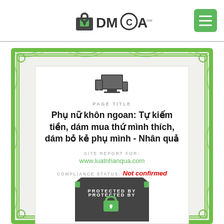[Figure (logo): DMCA.com logo with padlock icon and green menu button in top right]
[Figure (infographic): DMCA certificate with green guilloche border, device icons, page title, site report URL, compliance status, and protected badge]
PAGE TITLE
Phụ nữ khôn ngoan: Tự kiếm tiền, dám mua thứ mình thích, dám bỏ kẻ phụ mình - Nhân quả
SITE REPORT FOR:
www.luatnhanqua.com
COMPLIANCE STATUS: Not confirmed
PROTECTED BY